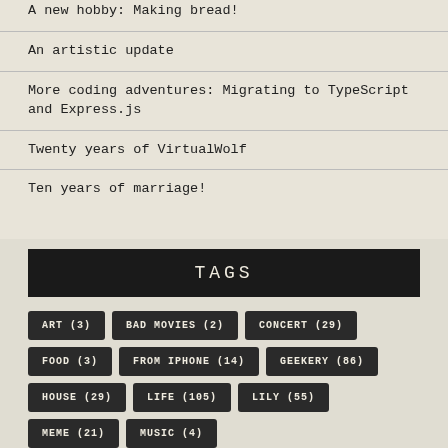A new hobby: Making bread!
An artistic update
More coding adventures: Migrating to TypeScript and Express.js
Twenty years of VirtualWolf
Ten years of marriage!
TAGS
ART (3)
BAD MOVIES (2)
CONCERT (29)
FOOD (3)
FROM IPHONE (14)
GEEKERY (86)
HOUSE (29)
LIFE (105)
LILY (55)
MEME (21)
MUSIC (4)